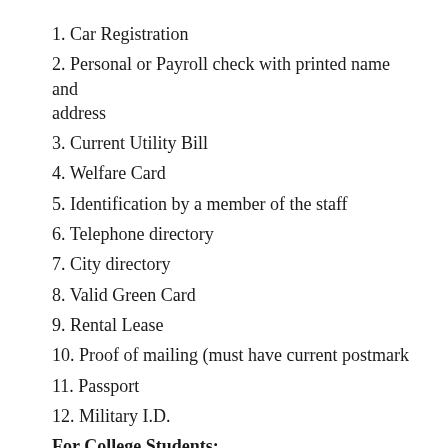1. Car Registration
2. Personal or Payroll check with printed name and address
3. Current Utility Bill
4. Welfare Card
5. Identification by a member of the staff
6. Telephone directory
7. City directory
8. Valid Green Card
9. Rental Lease
10. Proof of mailing (must have current postmark
11. Passport
12. Military I.D.
For College Students: